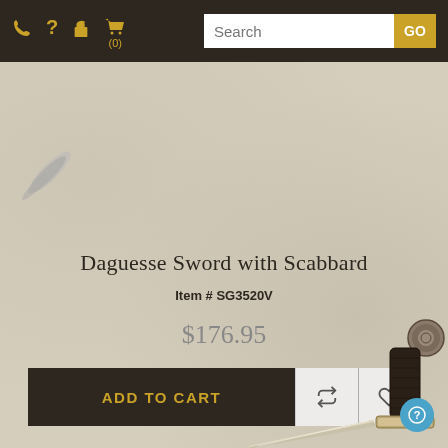Navigation bar with phone, help, lock, cart icons and search field with GO button
Daguesse Sword with Scabbard
Item # SG3520V
$176.95
ADD TO CART
[Figure (illustration): Sword handle and blade visible in bottom-right corner of product page; sword tip visible in top-left area]
?